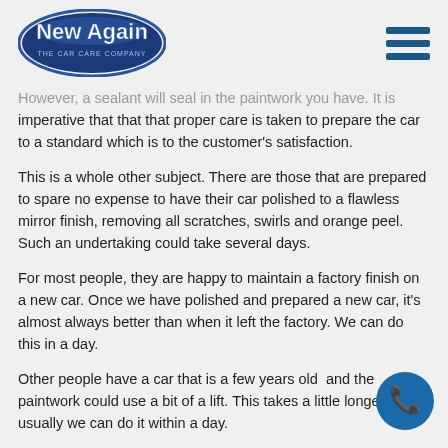New Again - The Car Care Company
However, a sealant will seal in the paintwork you have. It is imperative that that that proper care is taken to prepare the car to a standard which is to the customer's satisfaction.
This is a whole other subject. There are those that are prepared to spare no expense to have their car polished to a flawless mirror finish, removing all scratches, swirls and orange peel.  Such an undertaking could take several days.
For most people, they are happy to maintain a factory finish on a new car. Once we have polished and prepared a new car, it's almost always better than when it left the factory. We can do this in a day.
Other people have a car that is a few years old  and the paintwork could use a bit of a lift. This takes a little longer but usually we can do it within a day.